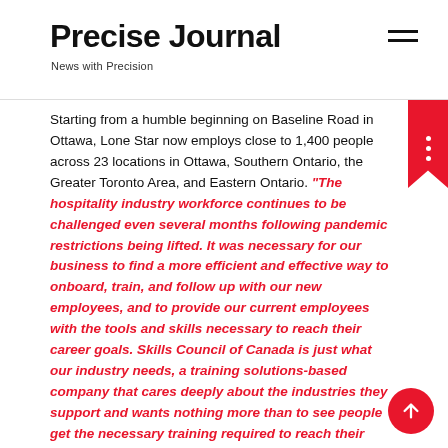Precise Journal
News with Precision
Starting from a humble beginning on Baseline Road in Ottawa, Lone Star now employs close to 1,400 people across 23 locations in Ottawa, Southern Ontario, the Greater Toronto Area, and Eastern Ontario. “The hospitality industry workforce continues to be challenged even several months following pandemic restrictions being lifted. It was necessary for our business to find a more efficient and effective way to onboard, train, and follow up with our new employees, and to provide our current employees with the tools and skills necessary to reach their career goals. Skills Council of Canada is just what our industry needs, a training solutions-based company that cares deeply about the industries they support and wants nothing more than to see people get the necessary training required to reach their personal goals.
Skills Council of Canada’s training experts has worked directly with our team to help us integrate the tools and